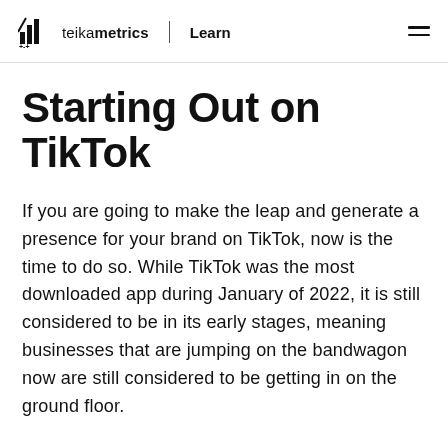teikametrics | Learn
Starting Out on TikTok
If you are going to make the leap and generate a presence for your brand on TikTok, now is the time to do so. While TikTok was the most downloaded app during January of 2022, it is still considered to be in its early stages, meaning businesses that are jumping on the bandwagon now are still considered to be getting in on the ground floor.